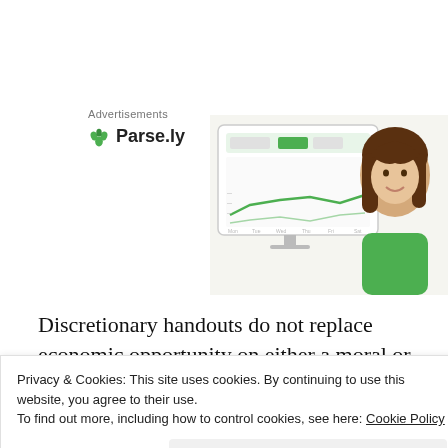Advertisements
[Figure (logo): Parse.ly logo with green leaf icon and bold text 'Parse.ly']
[Figure (screenshot): Parse.ly analytics dashboard screenshot with a woman in green top smiling]
Discretionary handouts do not replace economic opportunity on either a moral or results basis. The problems of drug use, teen pregnancy and violence have
Privacy & Cookies: This site uses cookies. By continuing to use this website, you agree to their use.
To find out more, including how to control cookies, see here: Cookie Policy
Close and accept